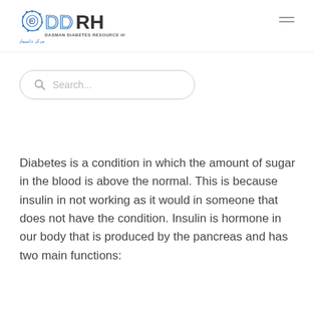[Figure (logo): DDRH - Dasman Diabetes Resource Hub logo with icon and bilingual text (English and Arabic)]
Search...
Diabetes is a condition in which the amount of sugar in the blood is above the normal. This is because insulin in not working as it would in someone that does not have the condition. Insulin is hormone in our body that is produced by the pancreas and has two main functions: